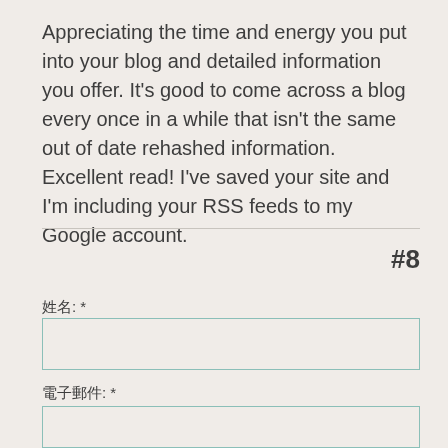Appreciating the time and energy you put into your blog and detailed information you offer. It's good to come across a blog every once in a while that isn't the same out of date rehashed information. Excellent read! I've saved your site and I'm including your RSS feeds to my Google account.
#8
姓名: *
電子郵件: *